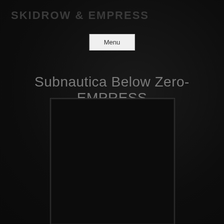SKIDROW & EMPRESS
Menu
Subnautica Below Zero-EMPRESS
[Figure (photo): Dark rectangular bordered image placeholder with very dark background, almost entirely black with subtle texture]